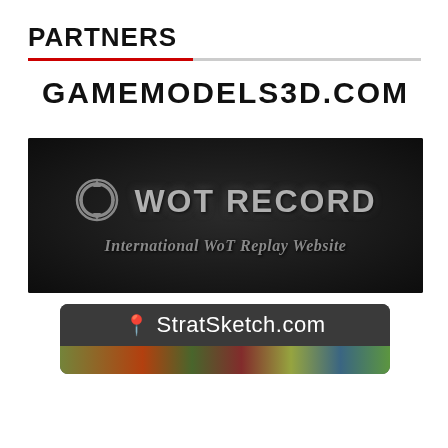PARTNERS
[Figure (logo): GAMEMODELS3D.COM logo in bold black uppercase text]
[Figure (logo): WoT RECORD - International WoT Replay Website banner on dark leather-textured background with circular arrow icon]
[Figure (logo): StratSketch.com banner with dark gray background and location pin icon, colorful map image below]